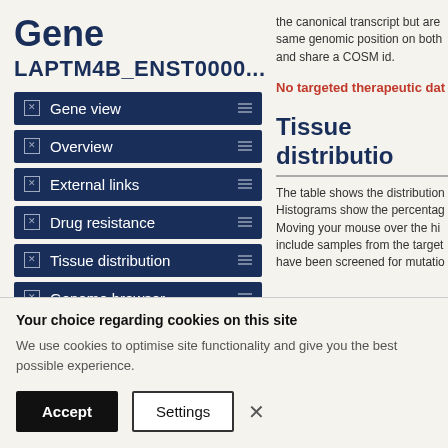Gene
LAPTM4B_ENST0000...
Gene view
Overview
External links
Drug resistance
Tissue distribution
Genome browser
Mutation distribution
the canonical transcript but are same genomic position on both and share a COSM id.
No targeted therapeutic dat
Tissue distributio
The table shows the distribution Histograms show the percentag Moving your mouse over the hi include samples from the target have been screened for mutatio
Your choice regarding cookies on this site
We use cookies to optimise site functionality and give you the best possible experience.